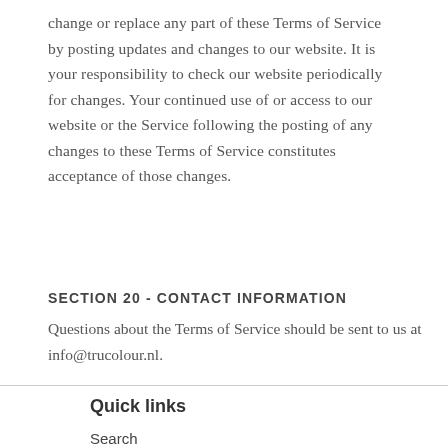change or replace any part of these Terms of Service by posting updates and changes to our website. It is your responsibility to check our website periodically for changes. Your continued use of or access to our website or the Service following the posting of any changes to these Terms of Service constitutes acceptance of those changes.
SECTION 20 - CONTACT INFORMATION
Questions about the Terms of Service should be sent to us at info@trucolour.nl.
Quick links
Search